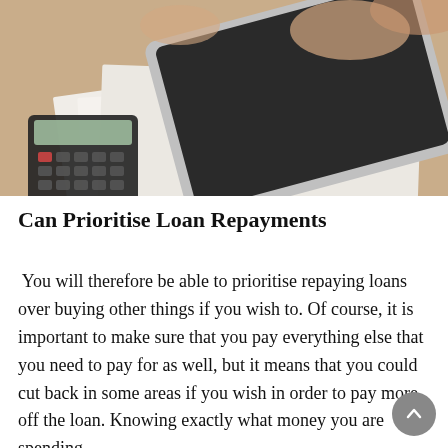[Figure (photo): A person's hands holding a tablet device over a desk with papers showing financial charts and bar graphs, a calculator on the left side, and a pen resting on the documents. The desk surface is light wood.]
Can Prioritise Loan Repayments
You will therefore be able to prioritise repaying loans over buying other things if you wish to. Of course, it is important to make sure that you pay everything else that you need to pay for as well, but it means that you could cut back in some areas if you wish in order to pay more off the loan. Knowing exactly what money you are spending